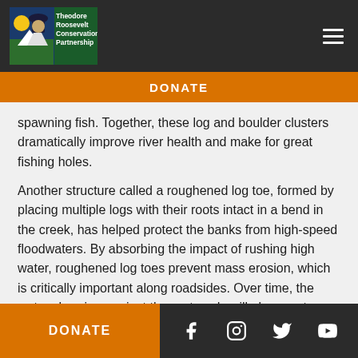Theodore Roosevelt Conservation Partnership
DONATE
spawning fish. Together, these log and boulder clusters dramatically improve river health and make for great fishing holes.
Another structure called a roughened log toe, formed by placing multiple logs with their roots intact in a bend in the creek, has helped protect the banks from high-speed floodwaters. By absorbing the impact of rushing high water, roughened log toes prevent mass erosion, which is critically important along roadsides. Over time, the water churning against the root wads will also create cool, shady areas for fish to…
DONATE